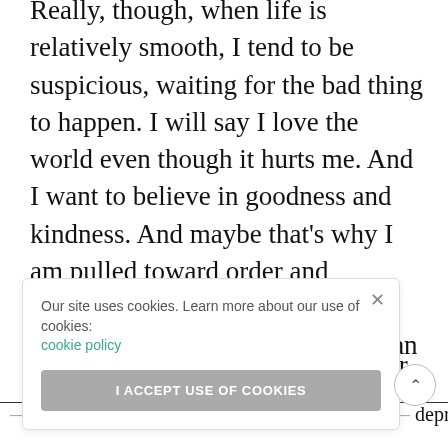Really, though, when life is relatively smooth, I tend to be suspicious, waiting for the bad thing to happen. I will say I love the world even though it hurts me. And I want to believe in goodness and kindness. And maybe that's why I am pulled toward order and resolution in my endings. Essentially I am reaching toward an ending that feels inevitable and that continues to resonate outward.
[Figure (screenshot): Cookie consent banner with text 'Our site uses cookies. Learn more about our use of cookies: cookie policy' and a button 'I ACCEPT USE OF COOKIES' and a close X button]
...I owe ...born, after ...d surgical ...depression,